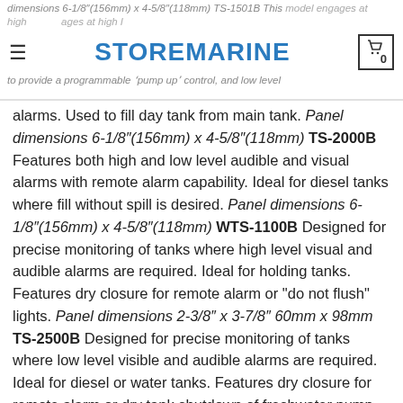dimensions 6-1/8″(156mm) x 4-5/8″(118mm) TS-1501B This model engages at high level and disengages at high level to provide a programmable 'pump up' control, and low level alarms. Used to fill day tank from main tank.
alarms. Used to fill day tank from main tank. Panel dimensions 6-1/8″(156mm) x 4-5/8″(118mm) TS-2000B Features both high and low level audible and visual alarms with remote alarm capability. Ideal for diesel tanks where fill without spill is desired. Panel dimensions 6-1/8″(156mm) x 4-5/8″(118mm) WTS-1100B Designed for precise monitoring of tanks where high level visual and audible alarms are required. Ideal for holding tanks. Features dry closure for remote alarm or “do not flush” lights. Panel dimensions 2-3/8″ x 3-7/8″ 60mm x 98mm TS-2500B Designed for precise monitoring of tanks where low level visible and audible alarms are required. Ideal for diesel or water tanks. Features dry closure for remote alarm or dry tank shutdown of freshwater pump. Panel dimensions 2-3/8″ x 3-7/8″ 60mm x 98mm Tank Sentry 3000 Series Developed